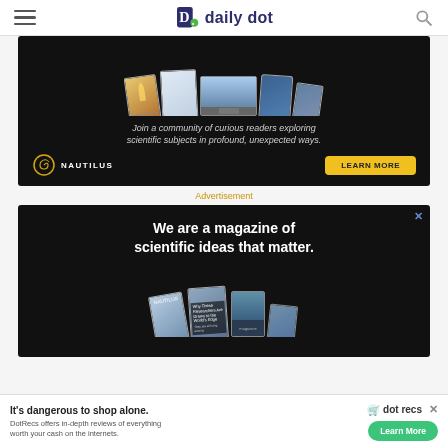daily dot
[Figure (screenshot): Nautilus magazine advertisement on dark background with magazine covers and devices. Text: 'Join a community of curious readers exploring scientific subjects in profound, unexpected ways.' with NAUTILUS branding and LEARN MORE button.]
Advertisement
[Figure (screenshot): Second Nautilus advertisement: 'We are a magazine of scientific ideas that matter.' with magazine covers shown below the text.]
[Figure (screenshot): DotRecs bottom banner ad: 'It's dangerous to shop alone.' with dot recs branding and Learn More button. 'DotRecs offers in-depth reviews of everything worth your cash on the internets.']